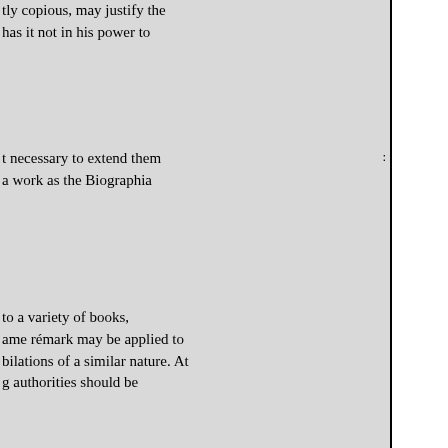tly copious, may justify the has it not in his power to
t necessary to extend them a work as the Biographia
to a variety of books, ame rémark may be applied to bilations of a similar nature. At g authorities should be
pious list of each AUTHOR'S
past reputation and value, than ing and taste of part